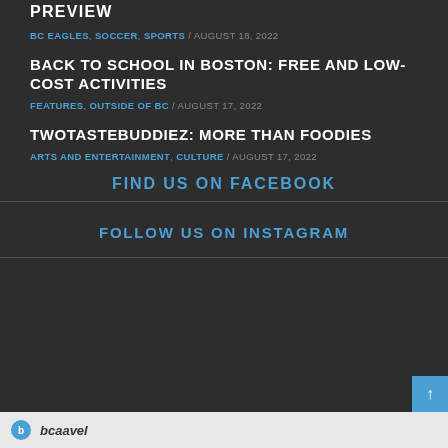PREVIEW
BC EAGLES, SOCCER, SPORTS / AUGUST 18, 2022
BACK TO SCHOOL IN BOSTON: FREE AND LOW-COST ACTIVITIES
FEATURES, OUTSIDE OF BC / AUGUST 17, 2022
TWOTASTEBUDDIEZ: MORE THAN FOODIES
ARTS AND ENTERTAINMENT, CULTURE / AUGUST 17, 2022
FIND US ON FACEBOOK
FOLLOW US ON INSTAGRAM
bcaavel